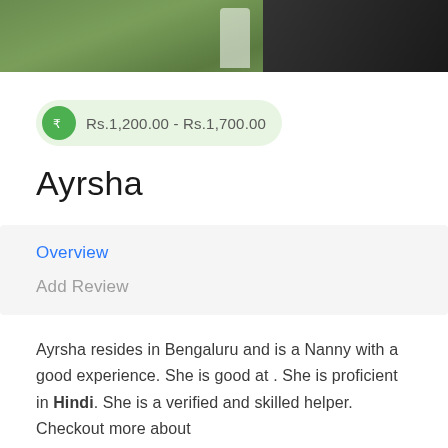[Figure (photo): Top banner photo showing plants/greenery on the left and a dark surface/table on the right]
Rs.1,200.00 - Rs.1,700.00
Ayrsha
Overview
Add Review
Ayrsha resides in Bengaluru and is a Nanny with a good experience. She is good at . She is proficient in Hindi. She is a verified and skilled helper. Checkout more about